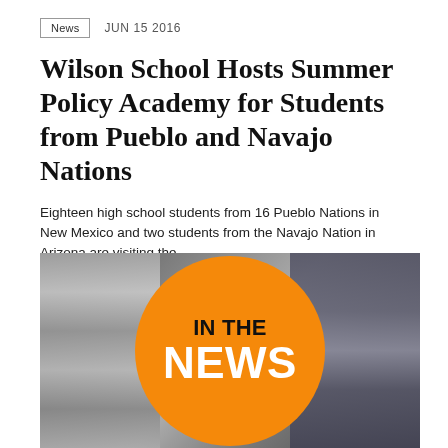News   JUN 15 2016
Wilson School Hosts Summer Policy Academy for Students from Pueblo and Navajo Nations
Eighteen high school students from 16 Pueblo Nations in New Mexico and two students from the Navajo Nation in Arizona are visiting the...
[Figure (photo): Stack of newspapers in background with a large orange circle overlay containing the text 'IN THE NEWS' in bold black and white text]